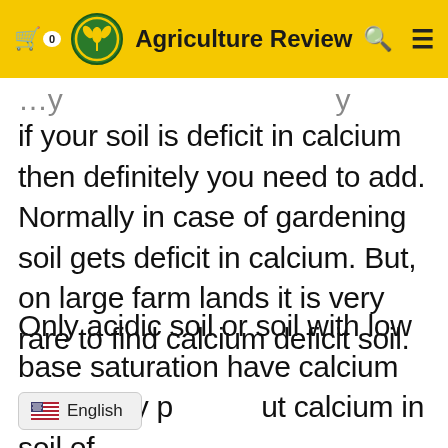Agriculture Review
if your soil is deficit in calcium then definitely you need to add. Normally in case of gardening soil gets deficit in calcium. But, on large farm lands it is very rare to find calcium deficit soil.
Only acidic soil or soil with low base saturation have calcium deficiency p... ut calcium in soil of